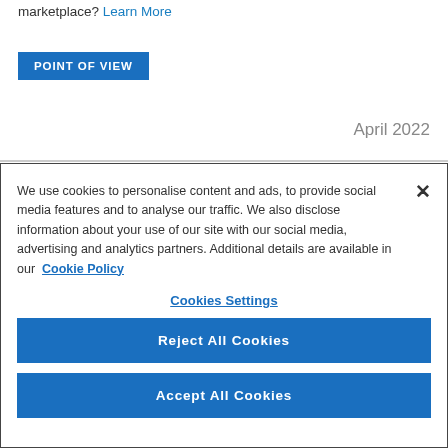marketplace? Learn More
POINT OF VIEW
April 2022
We use cookies to personalise content and ads, to provide social media features and to analyse our traffic. We also disclose information about your use of our site with our social media, advertising and analytics partners. Additional details are available in our Cookie Policy
Cookies Settings
Reject All Cookies
Accept All Cookies